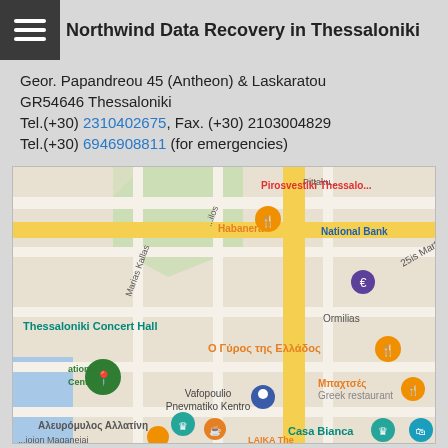Northwind Data Recovery in Thessaloniki
Geor. Papandreou 45 (Antheon) & Laskaratou
GR54646 Thessaloniki
Tel.(+30) 2310402675, Fax. (+30) 2103004829
Tel.(+30) 6946908811 (for emergencies)
[Figure (map): Google Maps view of Thessaloniki showing Thessaloniki Concert Hall, Vafopoulio Pnevmatiko Kentro, Casa Bianca, Habanera, National Bank, Pirosvestiki Thessaloniki, and other landmarks near Geor. Papandreou street]